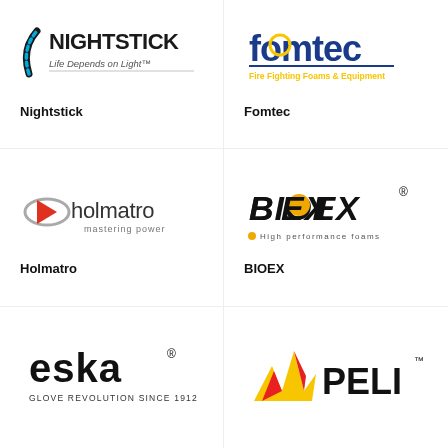[Figure (logo): Nightstick logo with tagline 'Life Depends on Light']
[Figure (logo): Fomtec logo with tagline 'Fire Fighting Foams & Equipment']
Nightstick
Fomtec
[Figure (logo): Holmatro logo with tagline 'mastering power']
[Figure (logo): BIOEX logo with tagline 'High performance foams']
Holmatro
BIOEX
[Figure (logo): ESKA logo with tagline 'GLOVE REVOLUTION SINCE 1912']
[Figure (logo): PELI logo with bird/flame graphic]